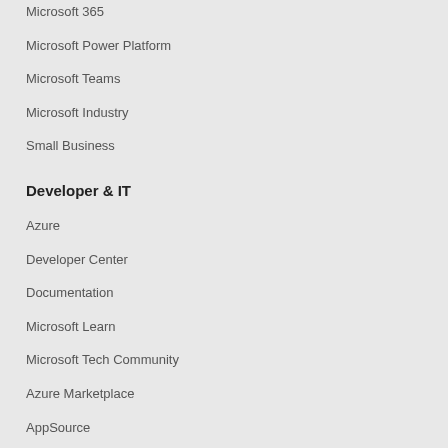Microsoft 365
Microsoft Power Platform
Microsoft Teams
Microsoft Industry
Small Business
Developer & IT
Azure
Developer Center
Documentation
Microsoft Learn
Microsoft Tech Community
Azure Marketplace
AppSource